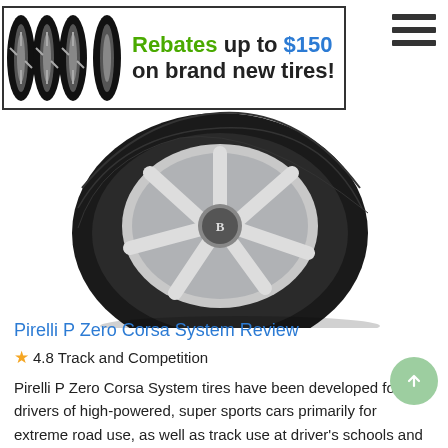[Figure (screenshot): Website header banner with four black tire/wheel images on the left, bold promotional text 'Rebates up to $150 on brand new tires!' in a bordered box, and a hamburger menu icon on the right.]
[Figure (photo): Close-up photo of a Pirelli P Zero Corsa tire mounted on a silver multi-spoke alloy wheel with a Brabus center cap, partially visible from a low angle.]
Pirelli P Zero Corsa System Review
★4.8 Track and Competition
Pirelli P Zero Corsa System tires have been developed for the drivers of high-powered, super sports cars primarily for extreme road use, as well as track use at driver's schools and lapping days.
Available tire sizes that fit Volkswagen Golf R: